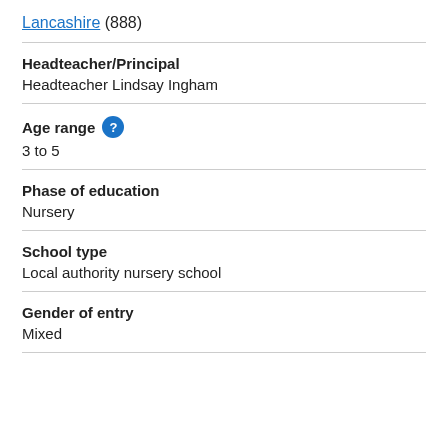Lancashire (888)
Headteacher/Principal
Headteacher Lindsay Ingham
Age range
3 to 5
Phase of education
Nursery
School type
Local authority nursery school
Gender of entry
Mixed